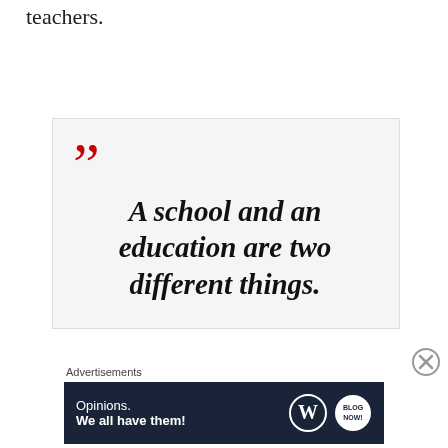teachers.
A school and an education are two different things.
Advertisements
[Figure (infographic): Advertisement banner with dark navy background showing 'Opinions. We all have them!' with WordPress and Blog logos]